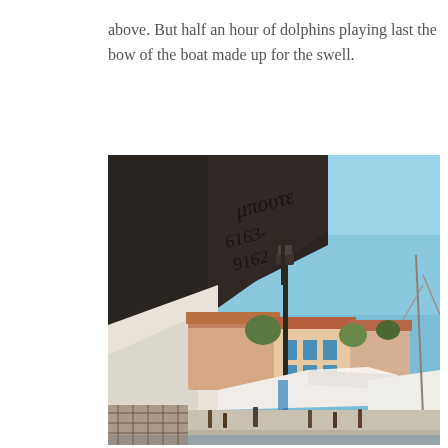above.  But half an hour of dolphins playing last the bow of the boat made up for the swell.
[Figure (photo): A photograph taken from under a large dark canvas awning/umbrella with Greek text visible on it, looking out at a Greek harbor town. The scene shows a clear blue sky, colorful pastel-painted buildings with terracotta roofs and blue trim along the waterfront, white market canopy tents, a street lamp/pole in the foreground, and the mast of a sailboat visible on the right side. People are visible at street level near the shops and tents.]